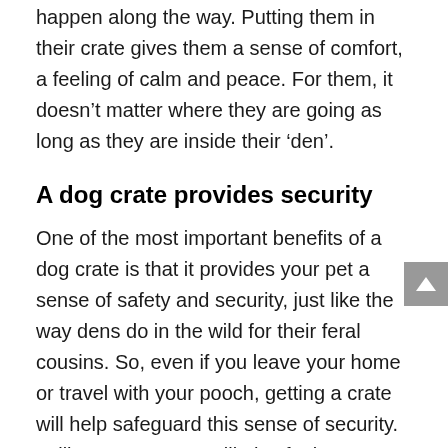happen along the way. Putting them in their crate gives them a sense of comfort, a feeling of calm and peace. For them, it doesn't matter where they are going as long as they are inside their 'den'.
A dog crate provides security
One of the most important benefits of a dog crate is that it provides your pet a sense of safety and security, just like the way dens do in the wild for their feral cousins. So, even if you leave your home or travel with your pooch, getting a crate will help safeguard this sense of security. In like manner, you will also feel more confident and more secure knowing that your pet is safe and sound inside its crate. Toss in a comfy bedding and some of its toys and it will be a calm, relaxed, and happy mutt